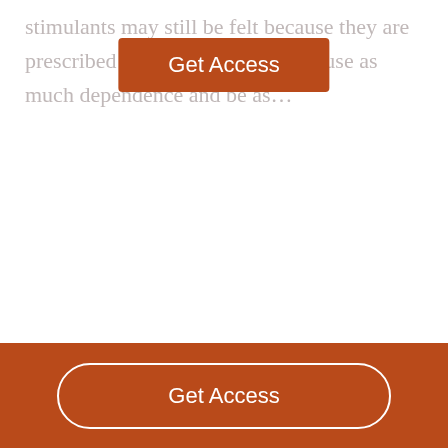stimulants may still be felt because they are prescribed by doctors, they can cause as much dependence and be as…
[Figure (other): Orange 'Get Access' button overlay on text (popup/paywall button)]
[Figure (other): Orange footer bar with white outlined 'Get Access' button]